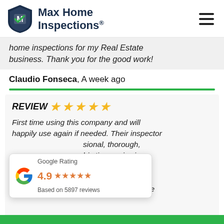Max Home Inspections®
home inspections for my Real Estate business. Thank you for the good work!
Claudio Fonseca, A week ago
REVIEW ★★★★★
First time using this company and will happily use again if needed. Their inspector ...sional, thorough, ...his time reviewing ...h us and asked ...uestions or if there was anything he could show us. From the
[Figure (other): Google Rating popup showing 4.9 stars based on 5897 reviews]